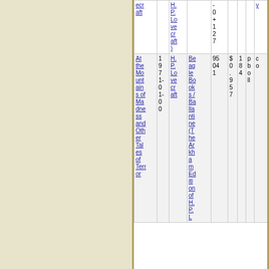| Title | Year | Author | Publisher | ISBN | Price | Col7 | Col8 | Col9 | Owner |
| --- | --- | --- | --- | --- | --- | --- | --- | --- | --- |
| (ecr aft) |  | (H. P. Lo ve cr aft) |  | - 0 + 1 2 7 |  |  |  | y |
| At the Mo unt ain s of Ma dne ss and Oth er Tal es of Terr or | 1 9 7 1- 0 1- 0 0 | H. P. Lo ve cr aft | Bea gle Bo ok s / Ba lla nti ne (T he Ar kh am Ed iti on of H. P. L... | 95 04 1 | $ 0 . 9 5 | 1 8 4 | p b o ll | c | Jo hn D or e, Jo hn Cl ari dg e | ✓ |